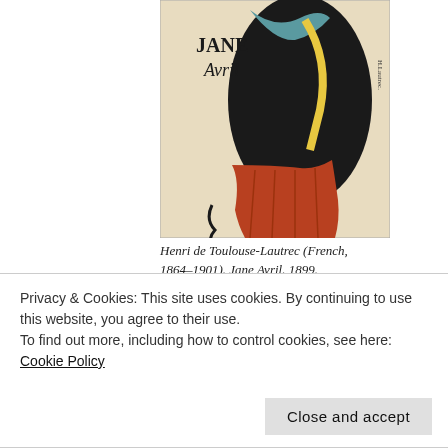[Figure (illustration): Poster artwork: Jane Avril by Henri de Toulouse-Lautrec, 1899. Shows a woman in a dark cape/coat with reddish dress, text 'JANE Avril' in the upper left, artist signature on right side, and a stamp reading 1899 at lower right.]
Henri de Toulouse-Lautrec (French, 1864–1901). Jane Avril. 1899. Lithograph, sheet: 22 1/16 x 15"
If you went to MoMA in the past few months, it was probably to see the Matisse Cut-Outs exhibit which recently closed. But there's reason to return soon, and that's to see "The Paris of Toulouse-Lautrec:Prints and Posters." The exhibition is drawn almost exclusively from MoMA's
Privacy & Cookies: This site uses cookies. By continuing to use this website, you agree to their use.
To find out more, including how to control cookies, see here: Cookie Policy
Close and accept